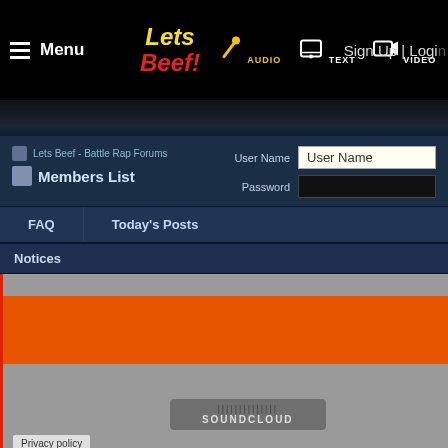Menu | Lets Beef | AUDIO | TEXT | VIDEO | Sign Up | Login
Lets Beef - Battle Rap Forums > Members List
User Name | Password
FAQ | Today's Posts
Notices
[Figure (screenshot): Embedded SoundCloud audio player widget with orange play bar on gray background, showing SOUNDCLOUD label and waveform. Privacy policy link in bottom left.]
Instagram · Facebook · Twitter · SoundCloud · Radio · B C D E F G H I J K L M N O P Q R S T | Page 1 of 4913  1  2  3  11  51  101